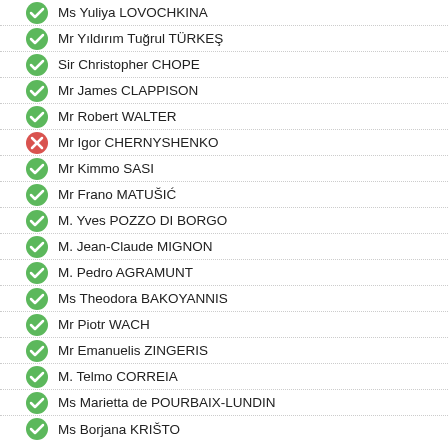Ms Yuliya LOVOCHKINA
Mr Yıldırım Tuğrul TÜRKEŞ
Sir Christopher CHOPE
Mr James CLAPPISON
Mr Robert WALTER
Mr Igor CHERNYSHENKO
Mr Kimmo SASI
Mr Frano MATUŠIĆ
M. Yves POZZO DI BORGO
M. Jean-Claude MIGNON
M. Pedro AGRAMUNT
Ms Theodora BAKOYANNIS
Mr Piotr WACH
Mr Emanuelis ZINGERIS
M. Telmo CORREIA
Ms Marietta de POURBAIX-LUNDIN
Ms Borjana KRIŠTO